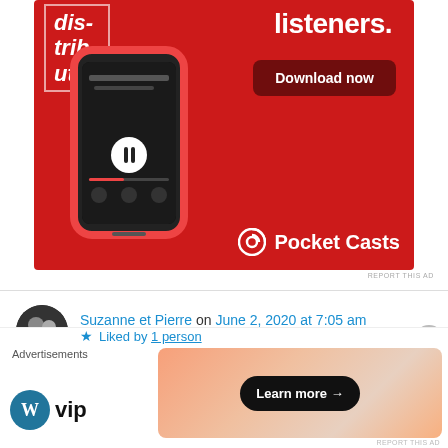[Figure (illustration): Pocket Casts advertisement on red background showing a smartphone with podcast app and 'Download now' button and Pocket Casts logo. Text reads 'dis-trib-uted listeners.' with Download now button.]
REPORT THIS AD
Suzanne et Pierre on June 2, 2020 at 7:05 am
Wonderful experience. We have yet to go to Peru but one day we hope to do it. Thanks for the virtual tour. (Suzanne)
Liked by 1 person
[Figure (logo): WordPress VIP logo]
[Figure (illustration): Advertisement banner with orange/peach gradient background and 'Learn more →' button in dark pill]
Advertisements
REPORT THIS AD